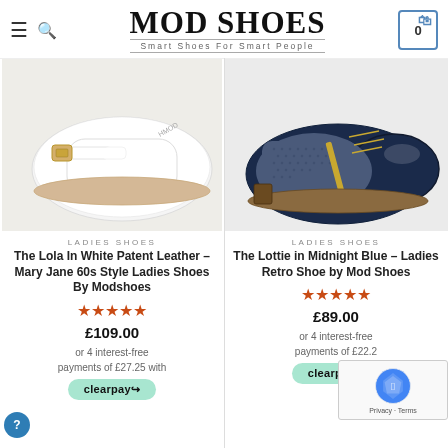MOD SHOES — Smart Shoes For Smart People
[Figure (photo): White patent leather Mary Jane shoes with gold buckle strap, viewed from above on white background]
[Figure (photo): Navy blue and grey textured Oxford shoes with gold trim detail, viewed from above on white background]
LADIES SHOES
The Lola In White Patent Leather – Mary Jane 60s Style Ladies Shoes By Modshoes
★★★★★
£109.00
or 4 interest-free payments of £27.25 with
clearpay
LADIES SHOES
The Lottie in Midnight Blue – Ladies Retro Shoe by Mod Shoes
★★★★★
£89.00
or 4 interest-free payments of £22.25 with
clearpay